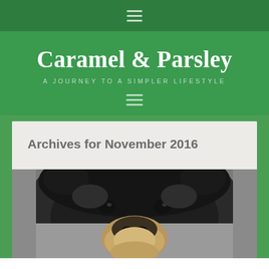☰ (navigation menu icon)
Caramel & Parsley
A JOURNEY TO A SIMPLER LIFESTYLE
Archives for November 2016
[Figure (photo): Close-up photo of a black bear's face, looking directly at the camera, with dark fur and a tan/beige muzzle]